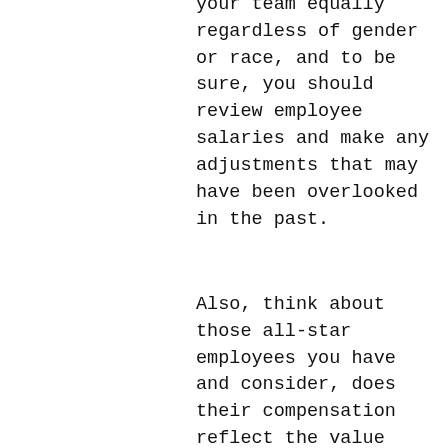your team equally regardless of gender or race, and to be sure, you should review employee salaries and make any adjustments that may have been overlooked in the past.
Also, think about those all-star employees you have and consider, does their compensation reflect the value they bring to your team? Are they due for a promotion? Could they be tempted to look elsewhere?
A recent analysis by Payscale.com determined that employees who think they're paid below market are 50% percent more likely to seek a new job within six months.
.